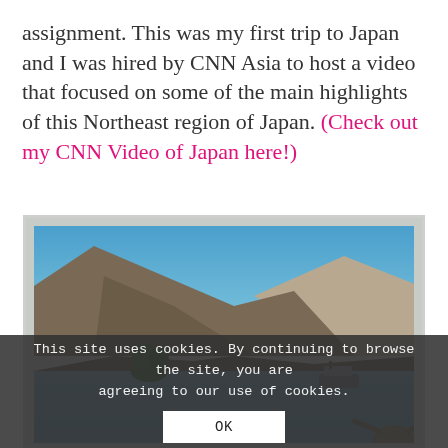assignment. This was my first trip to Japan and I was hired by CNN Asia to host a video that focused on some of the main highlights of this Northeast region of Japan. (Check out my CNN Video of Japan here!)
[Figure (photo): Landscape photo of a mountain lake scene in Japan with clear blue sky, forested mountain slopes, small wooded islets on calm water, and a boat visible in the background]
This site uses cookies. By continuing to browse the site, you are agreeing to our use of cookies.